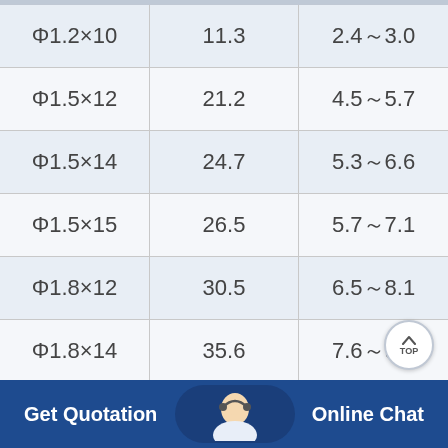| Φ1.2×10 | 11.3 | 2.4～3.0 |
| Φ1.5×12 | 21.2 | 4.5～5.7 |
| Φ1.5×14 | 24.7 | 5.3～6.6 |
| Φ1.5×15 | 26.5 | 5.7～7.1 |
| Φ1.8×12 | 30.5 | 6.5～8.1 |
| Φ1.8×14 | 35.6 | 7.6～9.5 |
| Φ2.2×12 | 45.6 | 9.7～12.2 |
| Φ2.2×14 | 53.2 | 11.4～14… |
Get Quotation    Online Chat